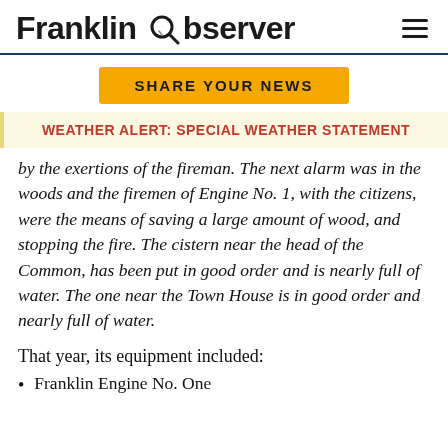Franklin Observer
SHARE YOUR NEWS
WEATHER ALERT: SPECIAL WEATHER STATEMENT
by the exertions of the fireman. The next alarm was in the woods and the firemen of Engine No. 1, with the citizens, were the means of saving a large amount of wood, and stopping the fire. The cistern near the head of the Common, has been put in good order and is nearly full of water. The one near the Town House is in good order and nearly full of water.
That year, its equipment included:
Franklin Engine No. One